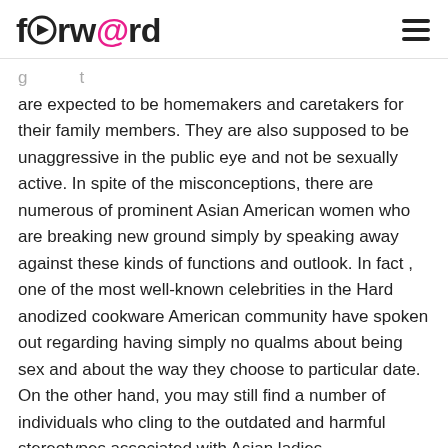forw@rd
are expected to be homemakers and caretakers for their family members. They are also supposed to be unaggressive in the public eye and not be sexually active. In spite of the misconceptions, there are numerous of prominent Asian American women who are breaking new ground simply by speaking away against these kinds of functions and outlook. In fact , one of the most well-known celebrities in the Hard anodized cookware American community have spoken out regarding having simply no qualms about being sex and about the way they choose to particular date. On the other hand, you may still find a number of individuals who cling to the outdated and harmful stereotypes associated with Asian ladies.
Asian Families have been subjected to a level of racial and